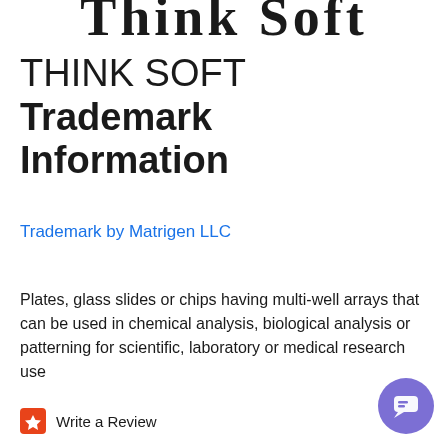Think Soft
THINK SOFT Trademark Information
Trademark by Matrigen LLC
Plates, glass slides or chips having multi-well arrays that can be used in chemical analysis, biological analysis or patterning for scientific, laboratory or medical research use
Write a Review